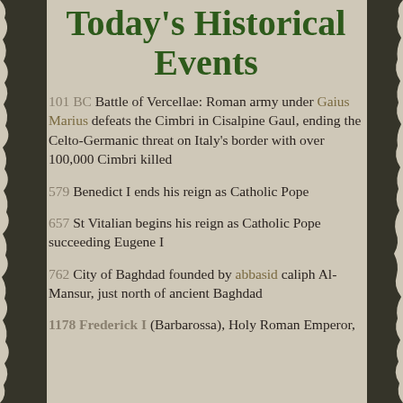Today's Historical Events
101 BC Battle of Vercellae: Roman army under Gaius Marius defeats the Cimbri in Cisalpine Gaul, ending the Celto-Germanic threat on Italy's border with over 100,000 Cimbri killed
579 Benedict I ends his reign as Catholic Pope
657 St Vitalian begins his reign as Catholic Pope succeeding Eugene I
762 City of Baghdad founded by abbasid caliph Al-Mansur, just north of ancient Baghdad
1178 Frederick I (Barbarossa), Holy Roman Emperor,